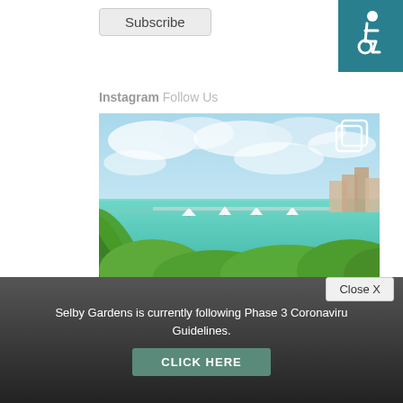Subscribe
[Figure (logo): Accessibility wheelchair icon on teal/dark teal background, top right corner]
Instagram Follow Us
[Figure (photo): Waterfront scene with turquoise bay water, sailboats, a bridge, tall buildings on the right, lush green tropical vegetation in the foreground, and a cloudy blue sky. Instagram post with duplicate-image icon overlay.]
Leadership
Selby Gardens is currently following Phase 3 Coronavirus Guidelines.
CLICK HERE
Close X